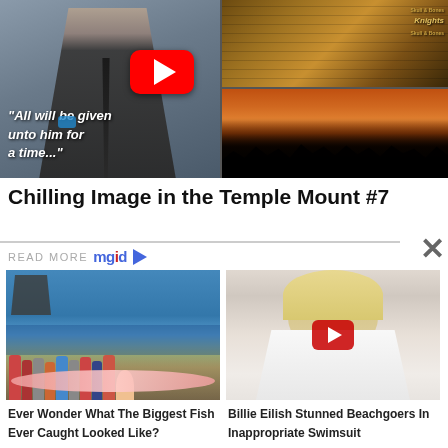[Figure (screenshot): YouTube video thumbnail showing a man in a suit with text quote 'All will be given unto him for a time...' on the left, and images of a pyramid/esoteric text and a crowd under dramatic orange sky on the right. Red YouTube play button visible.]
Chilling Image in the Temple Mount #7
READ MORE mgid
[Figure (photo): Group of people on a beach holding a very large oarfish (biggest fish ever caught)]
Ever Wonder What The Biggest Fish Ever Caught Looked Like?
[Figure (photo): Billie Eilish in a white swimsuit/dress with YouTube play button overlay]
Billie Eilish Stunned Beachgoers In Inappropriate Swimsuit